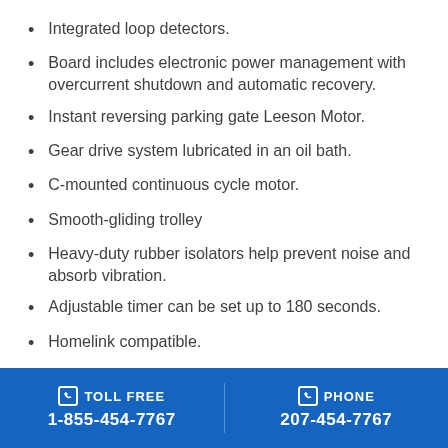Integrated loop detectors.
Board includes electronic power management with overcurrent shutdown and automatic recovery.
Instant reversing parking gate Leeson Motor.
Gear drive system lubricated in an oil bath.
C-mounted continuous cycle motor.
Smooth-gliding trolley
Heavy-duty rubber isolators help prevent noise and absorb vibration.
Adjustable timer can be set up to 180 seconds.
Homelink compatible.
UL and CSA listed.
TOLL FREE 1-855-454-7767  PHONE 207-454-7767